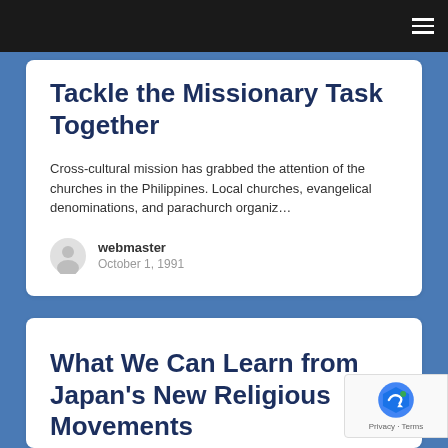Navigation bar with hamburger menu icon
Tackle the Missionary Task Together
Cross-cultural mission has grabbed the attention of the churches in the Philippines. Local churches, evangelical denominations, and parachurch organiz…
webmaster
October 1, 1991
What We Can Learn from Japan's New Religious Movements